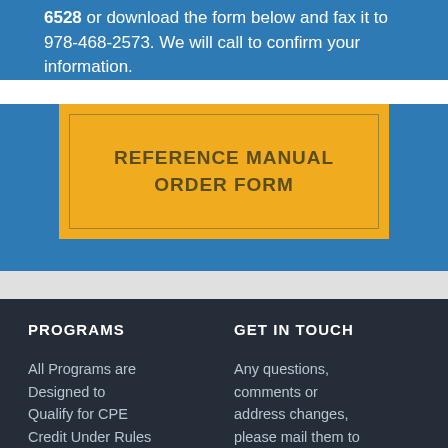6528 or download the form below and fax it to 978-468-2573. We will call to confirm your information.
[Figure (other): Yellow button with inner border containing text REFERENCE MANUAL ORDER FORM]
PROGRAMS
GET IN TOUCH
All Programs are Designed to Qualify for CPE Credit Under Rules Promulgated by
Any questions, comments or address changes, please mail them to ECE etc